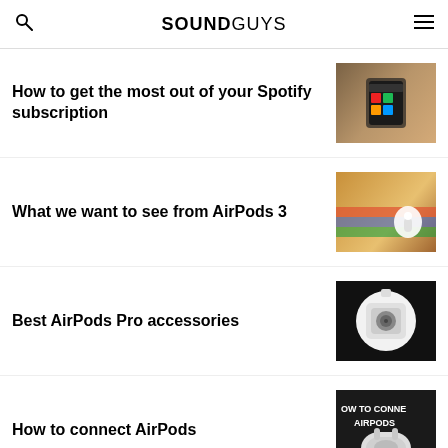SOUNDGUYS
How to get the most out of your Spotify subscription
What we want to see from AirPods 3
Best AirPods Pro accessories
How to connect AirPods